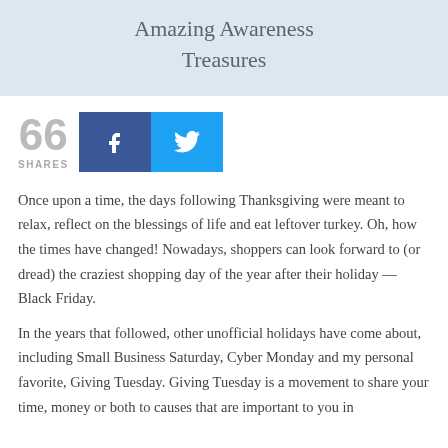[Figure (illustration): Light blue banner header with text 'Amazing Awareness Treasures']
66 SHARES
[Figure (infographic): Social share buttons: Facebook (dark blue) and Twitter (light blue)]
Once upon a time, the days following Thanksgiving were meant to relax, reflect on the blessings of life and eat leftover turkey. Oh, how the times have changed! Nowadays, shoppers can look forward to (or dread) the craziest shopping day of the year after their holiday — Black Friday.
In the years that followed, other unofficial holidays have come about, including Small Business Saturday, Cyber Monday and my personal favorite, Giving Tuesday. Giving Tuesday is a movement to share your time, money or both to causes that are important to you in